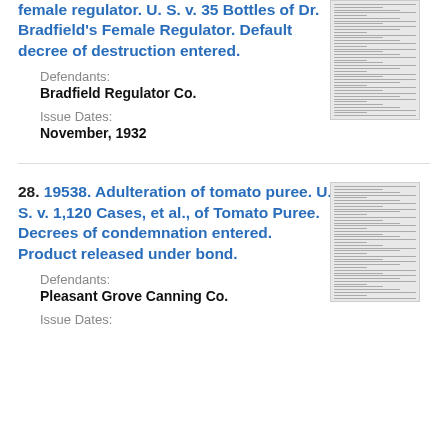female regulator. U. S. v. 35 Bottles of Dr. Bradfield's Female Regulator. Default decree of destruction entered.
Defendants:
Bradfield Regulator Co.
Issue Dates:
November, 1932
[Figure (other): Thumbnail image of a legal document page]
28. 19538. Adulteration of tomato puree. U. S. v. 1,120 Cases, et al., of Tomato Puree. Decrees of condemnation entered. Product released under bond.
Defendants:
Pleasant Grove Canning Co.
Issue Dates:
[Figure (other): Thumbnail image of a legal document page]